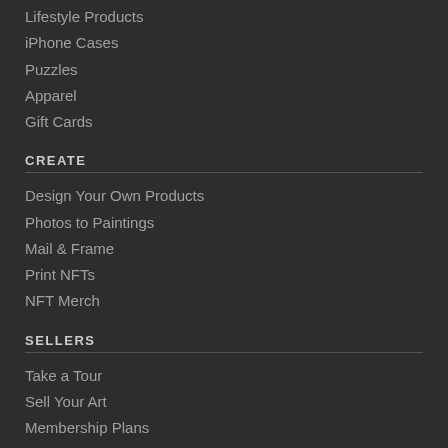Lifestyle Products
iPhone Cases
Puzzles
Apparel
Gift Cards
CREATE
Design Your Own Products
Photos to Paintings
Mail & Frame
Print NFTs
NFT Merch
SELLERS
Take a Tour
Sell Your Art
Membership Plans
Mobile App (iOS and Android)
Shopify App
Instagram Merchandise